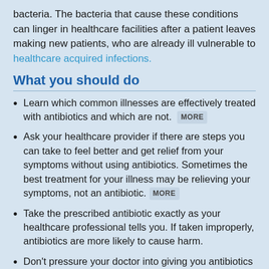bacteria. The bacteria that cause these conditions can linger in healthcare facilities after a patient leaves making new patients, who are already ill vulnerable to healthcare acquired infections.
What you should do
Learn which common illnesses are effectively treated with antibiotics and which are not. MORE
Ask your healthcare provider if there are steps you can take to feel better and get relief from your symptoms without using antibiotics. Sometimes the best treatment for your illness may be relieving your symptoms, not an antibiotic. MORE
Take the prescribed antibiotic exactly as your healthcare professional tells you. If taken improperly, antibiotics are more likely to cause harm.
Don't pressure your doctor into giving you antibiotics when he/she does not prescribe and